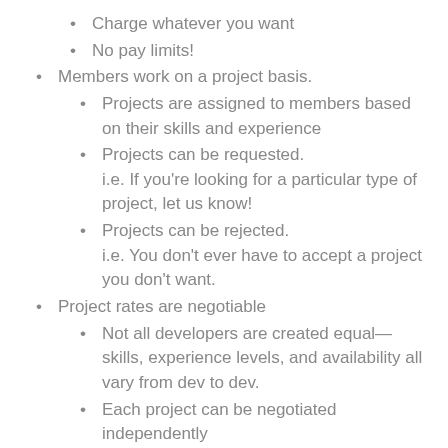Charge whatever you want
No pay limits!
Members work on a project basis.
Projects are assigned to members based on their skills and experience
Projects can be requested. i.e. If you're looking for a particular type of project, let us know!
Projects can be rejected. i.e. You don't ever have to accept a project you don't want.
Project rates are negotiable
Not all developers are created equal—skills, experience levels, and availability all vary from dev to dev.
Each project can be negotiated independently
Bring in a new project, and earn commission
Have a project that's too big to handle yourself?